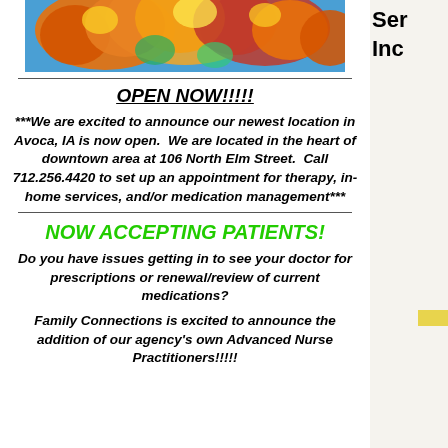[Figure (illustration): Colorful autumn leaves illustration in orange, red, yellow and green tones]
OPEN NOW!!!!!
***We are excited to announce our newest location in Avoca, IA is now open.  We are located in the heart of downtown area at 106 North Elm Street.  Call 712.256.4420 to set up an appointment for therapy, in-home services, and/or medication management***
NOW ACCEPTING PATIENTS!
Do you have issues getting in to see your doctor for prescriptions or renewal/review of current medications?
Family Connections is excited to announce the addition of our agency's own Advanced Nurse Practitioners!!!!!